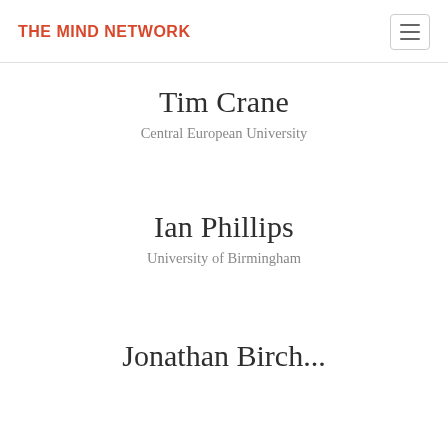THE MIND NETWORK
Tim Crane
Central European University
Ian Phillips
University of Birmingham
Jonathan Birch...